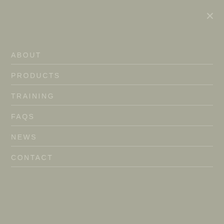×
ABOUT
PRODUCTS
TRAINING
FAQS
NEWS
CONTACT